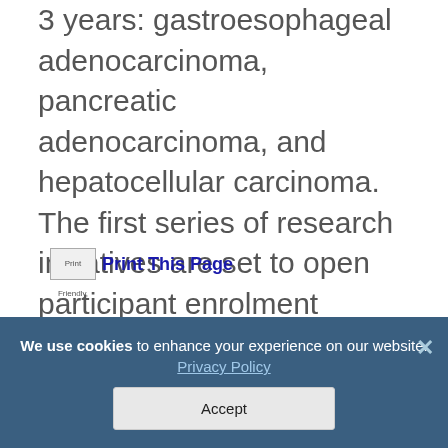3 years: gastroesophageal adenocarcinoma, pancreatic adenocarcinoma, and hepatocellular carcinoma. The first series of research initiatives are set to open participant enrolment towards the latter part of 2015.
Print Friendly, PDF & Email  Print This Page
Click Here to receive IO news via e-mail
We use cookies to enhance your experience on our website. Privacy Policy Accept